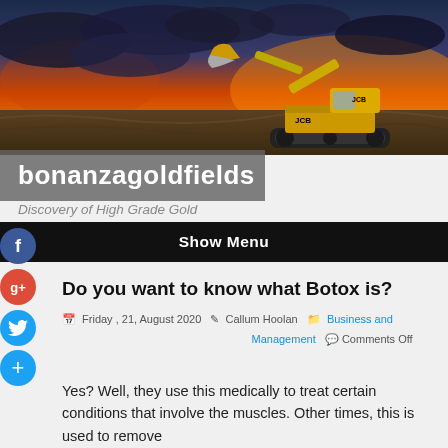[Figure (photo): Header image of a JCB excavator/digger against a dramatic orange and red sunset sky with dark clouds, working on a dirt excavation site.]
bonanzagoldfields
Discovery of High Grade Gold
Show Menu
Do you want to know what Botox is?
Friday , 21, August 2020   Callum Hoolan   Business and Management   Comments Off
Yes? Well, they use this medically to treat certain conditions that involve the muscles. Other times, this is used to remove